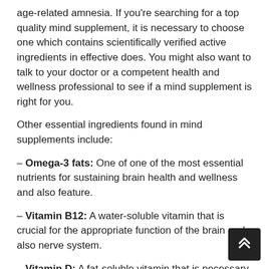age-related amnesia. If you're searching for a top quality mind supplement, it is necessary to choose one which contains scientifically verified active ingredients in effective does. You might also want to talk to your doctor or a competent health and wellness professional to see if a mind supplement is right for you.
Other essential ingredients found in mind supplements include:
– Omega-3 fats: One of one of the most essential nutrients for sustaining brain health and wellness and also feature.
– Vitamin B12: A water-soluble vitamin that is crucial for the appropriate function of the brain and also nerve system.
– Vitamin D: A fat-soluble vitamin that is necessary